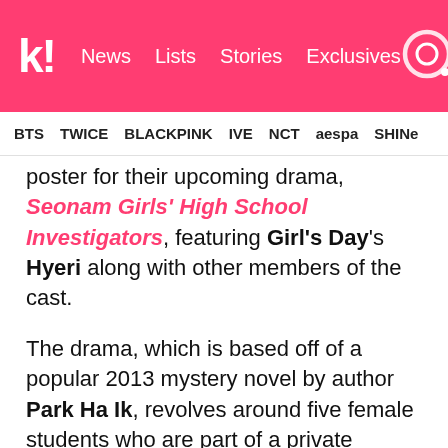k! News Lists Stories Exclusives [search]
BTS  TWICE  BLACKPINK  IVE  NCT  aespa  SHINee
poster for their upcoming drama, Seonam Girls' High School Investigators, featuring Girl's Day's Hyeri along with other members of the cast.
The drama, which is based off of a popular 2013 mystery novel by author Park Ha Ik, revolves around five female students who are part of a private investigators' club at Seonam Girls High School. Although the drama is revolved around the students solving detective cases, it has also been said that the show's writers worked very hard to make it as fun and hilarious as a variety show.